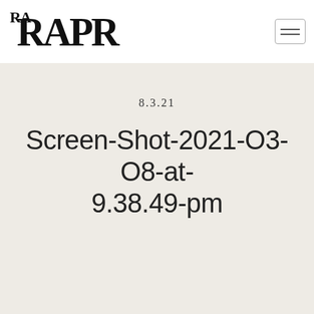RARAPR
8.3.21
Screen-Shot-2021-O3-O8-at-9.38.49-pm